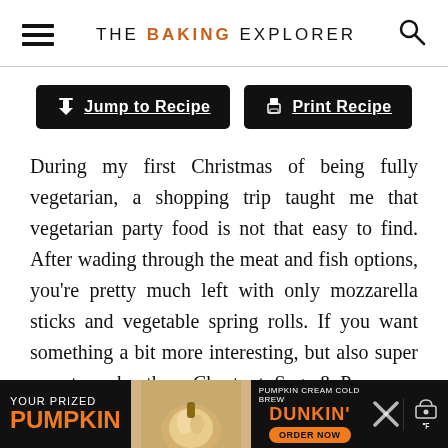THE BAKING EXPLORER
Jump to Recipe | Print Recipe
During my first Christmas of being fully vegetarian, a shopping trip taught me that vegetarian party food is not that easy to find. After wading through the meat and fish options, you're pretty much left with only mozzarella sticks and vegetable spring rolls. If you want something a bit more interesting, but also super easy to make, these Chestnut, Sage & Parmesan Palmiers are a perfect canape option. Using ready made pastry and pre-prepared chestnut make this a quick and
[Figure (screenshot): Advertisement banner for Dunkin' Pumpkin Cream Cold Brew at the bottom of the page]